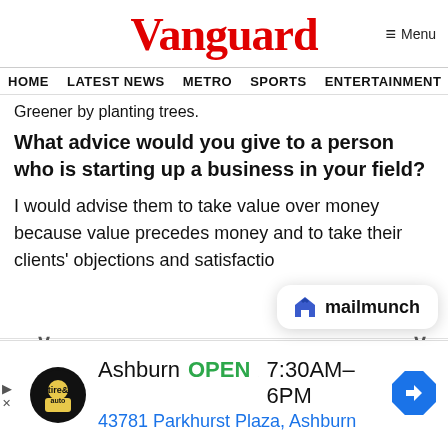Vanguard   ≡ Menu
HOME  LATEST NEWS  METRO  SPORTS  ENTERTAINMENT  VIDEOS
Greener by planting trees.
What advice would you give to a person who is starting up a business in your field?
I would advise them to take value over money because value precedes money and to take their clients' objections and satisfactio…
[Figure (other): Mailmunch popup overlay with logo and chevron controls]
[Figure (other): Advertisement bar: Virginia Tire & Auto, Ashburn OPEN 7:30AM–6PM, 43781 Parkhurst Plaza, Ashburn, with navigation icon]